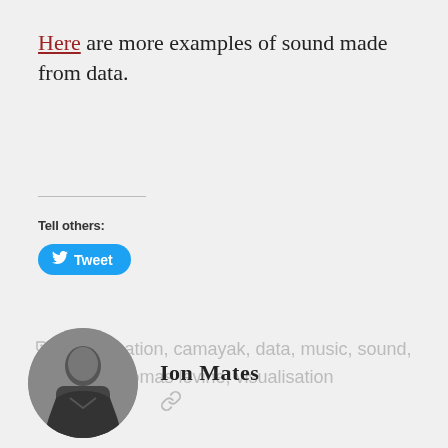Here are more examples of sound made from data.
Tell others:
[Figure (screenshot): Twitter Tweet button with bird logo]
audiolisation, camayak, data, music, sound, thomas levine, visualisation
[Figure (photo): Black and white circular author photo of Ion Mates]
Ion Mates